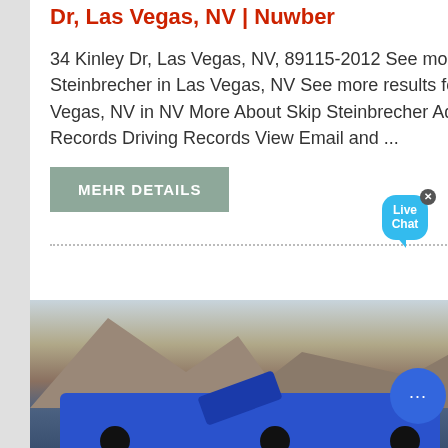Dr, Las Vegas, NV | Nuwber
34 Kinley Dr, Las Vegas, NV, 89115-2012 See more results for Skip Steinbrecher in Las Vegas, NV See more results for Steinbrecher in Las Vegas, NV in NV More About Skip Steinbrecher Address History Public Records Driving Records View Email and ...
MEHR DETAILS
[Figure (photo): Outdoor quarry or mining site with a large blue heavy machinery/crusher in the foreground and rocky hillside terrain in the background.]